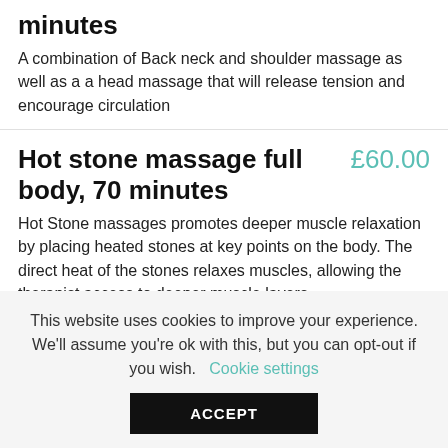minutes
A combination of Back neck and shoulder massage as well as a a head massage that will release tension and encourage circulation
Hot stone massage full body, 70 minutes £60.00
Hot Stone massages promotes deeper muscle relaxation by placing heated stones at key points on the body. The direct heat of the stones relaxes muscles, allowing the therapist access to deeper muscle layers.
This website uses cookies to improve your experience. We'll assume you're ok with this, but you can opt-out if you wish. Cookie settings
ACCEPT